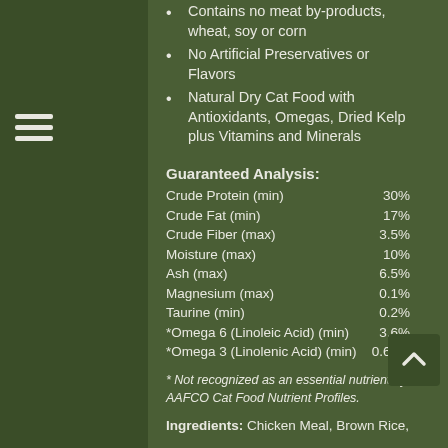Contains no meat by-products, wheat, soy or corn
No Artificial Preservatives or Flavors
Natural Dry Cat Food with Antioxidants, Omegas, Dried Kelp plus Vitamins and Minerals
Guaranteed Analysis:
| Nutrient | Amount |
| --- | --- |
| Crude Protein (min) | 30% |
| Crude Fat (min) | 17% |
| Crude Fiber (max) | 3.5% |
| Moisture (max) | 10% |
| Ash (max) | 6.5% |
| Magnesium (max) | 0.1% |
| Taurine (min) | 0.2% |
| *Omega 6 (Linoleic Acid) (min) | 3.6% |
| *Omega 3 (Linolenic Acid) (min) | 0.65% |
* Not recognized as an essential nutrient by AAFCO Cat Food Nutrient Profiles.
Ingredients: Chicken Meal, Brown Rice,